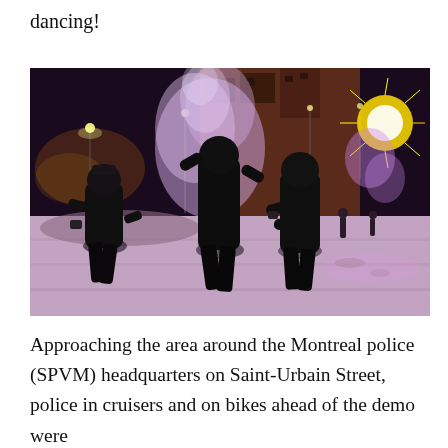dancing!
[Figure (photo): Night-time street scene showing three people in dark clothing standing on a snow-covered street, with fireworks and purple smoke in the background. City buildings visible in the distance.]
Approaching the area around the Montreal police (SPVM) headquarters on Saint-Urbain Street, police in cruisers and on bikes ahead of the demo were